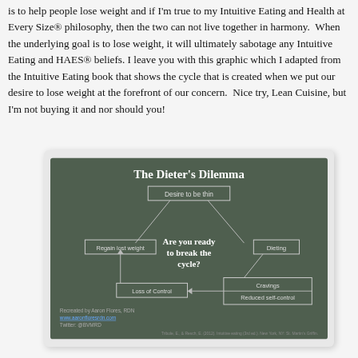is to help people lose weight and if I'm true to my Intuitive Eating and Health at Every Size® philosophy, then the two can not live together in harmony.  When the underlying goal is to lose weight, it will ultimately sabotage any Intuitive Eating and HAES® beliefs. I leave you with this graphic which I adapted from the Intuitive Eating book that shows the cycle that is created when we put our desire to lose weight at the forefront of our concern.  Nice try, Lean Cuisine, but I'm not buying it and nor should you!
[Figure (infographic): A chalkboard-style diagram titled 'The Dieters Dilemma' showing a cycle: Desire to be thin → Dieting → Cravings / Reduced self-control → Loss of Control → Regain lost weight → back to Desire to be thin. Center text reads 'Are you ready to break the cycle?' With attribution to Aaron Flores, RDN.]